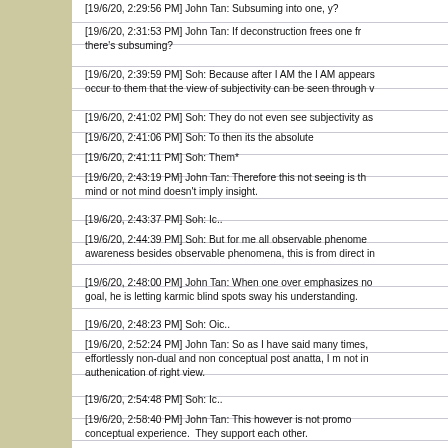[19/6/20, 2:29:56 PM] John Tan: Subsuming into one, y?
[19/6/20, 2:31:53 PM] John Tan: If deconstruction frees one fr... there's subsuming?
[19/6/20, 2:39:59 PM] Soh: Because after I AM the I AM appears... occur to them that the view of subjectivity can be seen through v...
[19/6/20, 2:41:02 PM] Soh: They do not even see subjectivity as...
[19/6/20, 2:41:06 PM] Soh: To then its the absolute
[19/6/20, 2:41:11 PM] Soh: Them*
[19/6/20, 2:43:19 PM] John Tan: Therefore this not seeing is th... mind or not mind doesn't imply insight.
[19/6/20, 2:43:37 PM] Soh: Ic..
[19/6/20, 2:44:39 PM] Soh: But for me all observable phenome... awareness besides observable phenomena, this is from direct in...
[19/6/20, 2:48:00 PM] John Tan: When one over emphasizes no... goal, he is letting karmic blind spots sway his understanding.
[19/6/20, 2:48:23 PM] Soh: Oic..
[19/6/20, 2:52:24 PM] John Tan: So as I have said many times,... effortlessly non-dual and non conceptual post anatta, I m not in... authenication of right view.
[19/6/20, 2:54:48 PM] Soh: Ic..
[19/6/20, 2:58:40 PM] John Tan: This however is not promo... conceptual experience. They support each other.
[19/6/20, 3:00:11 PM] John Tan: Why do I ask u what is the pur...